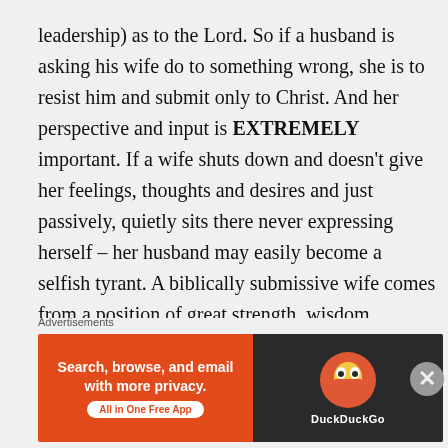leadership) as to the Lord. So if a husband is asking his wife do to something wrong, she is to resist him and submit only to Christ. And her perspective and input is EXTREMELY important. If a wife shuts down and doesn't give her feelings, thoughts and desires and just passively, quietly sits there never expressing herself – her husband may easily become a selfish tyrant. A biblically submissive wife comes from a position of great strength, wisdom, dignity, maturity and grace in my view. But when the couple can't agree – she graciously defers to her husband, trusting
Advertisements
[Figure (infographic): DuckDuckGo advertisement banner: orange background with text 'Search, browse, and email with more privacy. All in One Free App' and DuckDuckGo logo on dark right panel]